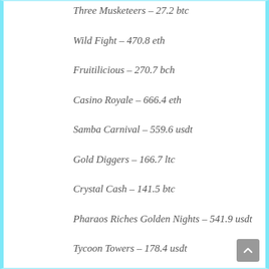Three Musketeers – 27.2 btc
Wild Fight – 470.8 eth
Fruitilicious – 270.7 bch
Casino Royale – 666.4 eth
Samba Carnival – 559.6 usdt
Gold Diggers – 166.7 ltc
Crystal Cash – 141.5 btc
Pharaos Riches Golden Nights – 541.9 usdt
Tycoon Towers – 178.4 usdt
Ace Ventura – 711.6 usdt
The Rat Pack – 310.4 ltc
blabla